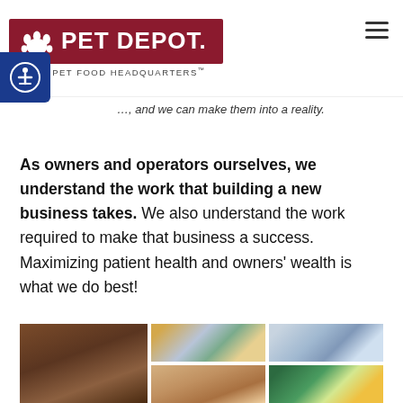[Figure (logo): Pet Depot logo - dark red banner with white dog silhouette and 'PET DEPOT.' text in white, subtitle reads 'Natural PET FOOD HEADQUARTERS']
...and we can make them into a reality.
As owners and operators ourselves, we understand the work that building a new business takes. We also understand the work required to make that business a success. Maximizing patient health and owners' wealth is what we do best!
[Figure (photo): Photo collage: brick interior with hanging light, pet store aisle with customers, employee with dog, refrigerated products section]